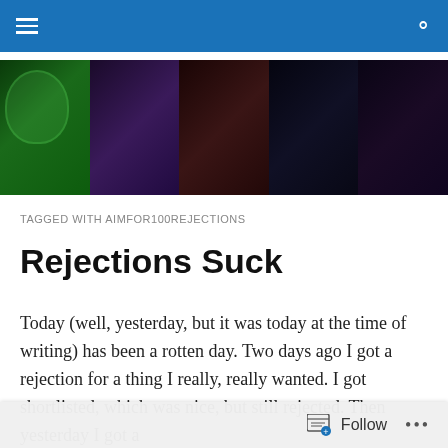Navigation bar with menu and search icons
[Figure (photo): Banner strip of 5 photos showing a woman in various settings: green-lit face, purple-lit portrait, reddish portrait, on stage with microphone, and close-up portrait]
TAGGED WITH AIMFOR100REJECTIONS
Rejections Suck
Today (well, yesterday, but it was today at the time of writing) has been a rotten day. Two days ago I got a rejection for a thing I really, really wanted. I got shortlisted, which was nice, but still rejected. Then yesterday I got a
Follow •••